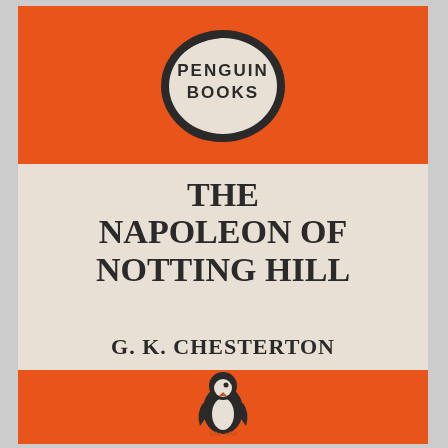[Figure (logo): Penguin Books classic orange paperback cover with oval logo at top, penguin bird at bottom]
THE NAPOLEON OF NOTTING HILL
G. K. CHESTERTON
FICTION